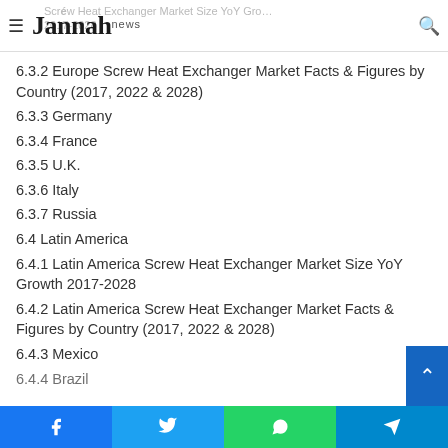Jannah news — [Screw Heat Exchanger Market Size YoY Growth 2017-2028]
6.3.2 Europe Screw Heat Exchanger Market Facts & Figures by Country (2017, 2022 & 2028)
6.3.3 Germany
6.3.4 France
6.3.5 U.K.
6.3.6 Italy
6.3.7 Russia
6.4 Latin America
6.4.1 Latin America Screw Heat Exchanger Market Size YoY Growth 2017-2028
6.4.2 Latin America Screw Heat Exchanger Market Facts & Figures by Country (2017, 2022 & 2028)
6.4.3 Mexico
6.4.4 Brazil
Facebook | Twitter | WhatsApp | Telegram